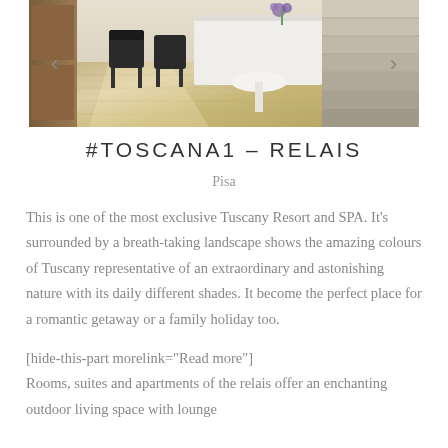[Figure (photo): Interior photo of a Tuscany resort showing a room with hardwood floors, black chairs, a white desk/counter area with flowers, and stone stairs on the right side.]
#TOSCANA1 – RELAIS
Pisa
This is one of the most exclusive Tuscany Resort and SPA. It's surrounded by a breath-taking landscape shows the amazing colours of Tuscany representative of an extraordinary and astonishing nature with its daily different shades. It become the perfect place for a romantic getaway or a family holiday too.
[hide-this-part morelink="Read more"] Rooms, suites and apartments of the relais offer an enchanting outdoor living space with lounge